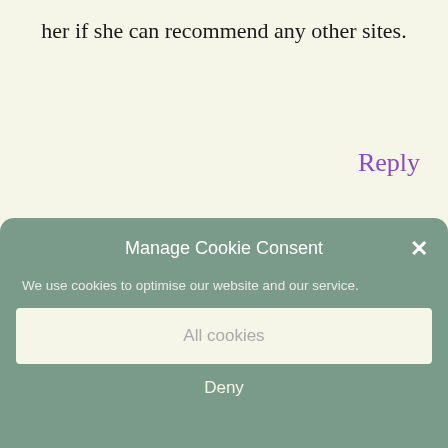her if she can recommend any other sites.
Reply
[Figure (illustration): Pink geometric patterned avatar icon for Audrey Nickel]
AUDREY NICKEL
MAY 7, 2016 AT 4:45 PM
Manage Cookie Consent
×
We use cookies to optimise our website and our service.
All cookies
Deny